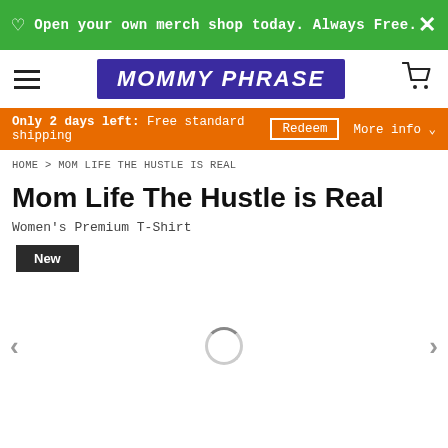Open your own merch shop today. Always Free.
[Figure (logo): MOMMY PHRASE logo in white italic text on purple/indigo background]
Only 2 days left: Free standard shipping  Redeem  More info
HOME > MOM LIFE THE HUSTLE IS REAL
Mom Life The Hustle is Real
Women's Premium T-Shirt
New